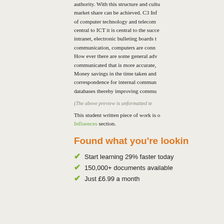authority. With this structure and culture market share can be achieved. C3 Inf of computer technology and telecom central to ICT it is central to the succe intranet, electronic bulleting boards t communication, computers are conne How ever there are some general adv communicated that is more accurate, Money savings in the time taken and correspondence for internal commun databases thereby improving commu
(The above preview is unformatted te
This student written piece of work is o Influences section.
Found what you're lookin
Start learning 29% faster today
150,000+ documents available
Just £6.99 a month